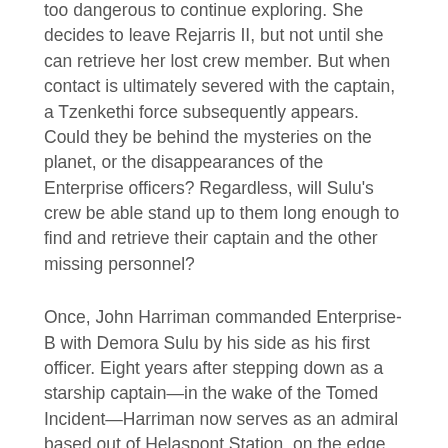too dangerous to continue exploring. She decides to leave Rejarris II, but not until she can retrieve her lost crew member. But when contact is ultimately severed with the captain, a Tzenkethi force subsequently appears. Could they be behind the mysteries on the planet, or the disappearances of the Enterprise officers? Regardless, will Sulu's crew be able stand up to them long enough to find and retrieve their captain and the other missing personnel?
Once, John Harriman commanded Enterprise-B with Demora Sulu by his side as his first officer. Eight years after stepping down as a starship captain—in the wake of the Tomed Incident—Harriman now serves as an admiral based out of Helaspont Station, on the edge of the Tzenkethi Coalition. When he receives a mysterious message from Rejarris II, he realizes that he might hold the key to finding his former crewmate. In choosing to help recover Demora Sulu, though, he could risk losing everything he